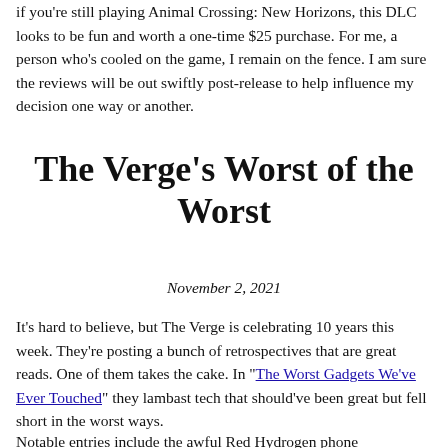if you're still playing Animal Crossing: New Horizons, this DLC looks to be fun and worth a one-time $25 purchase. For me, a person who's cooled on the game, I remain on the fence. I am sure the reviews will be out swiftly post-release to help influence my decision one way or another.
The Verge's Worst of the Worst
November 2, 2021
It's hard to believe, but The Verge is celebrating 10 years this week. They're posting a bunch of retrospectives that are great reads. One of them takes the cake. In "The Worst Gadgets We've Ever Touched" they lambast tech that should've been great but fell short in the worst ways.
Notable entries include the awful Red Hydrogen phone